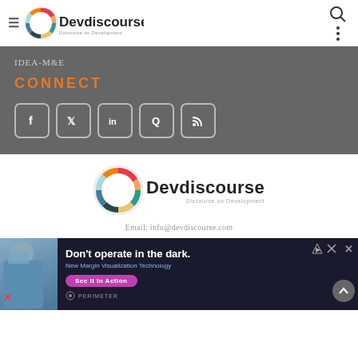Devdiscourse — Discourse on Development [navigation header with hamburger, logo, search icon]
IDEA-M&E
CONNECT
[Figure (other): Social media icon buttons: Facebook, Twitter, LinkedIn, Quora, RSS]
[Figure (logo): Devdiscourse logo — circular SDG wheel with 'Devdiscourse Discourse on Development' text]
Email: info@devdiscourse.com
[Figure (photo): Advertisement banner: 'Don't operate in the dark. New Margin Visualization Technology. See It In Action. PERIMETER' with image of a surgeon/doctor in scrubs and surgical mask]